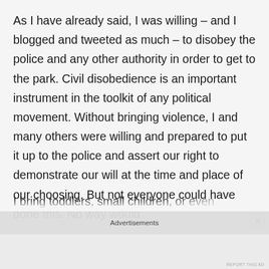As I have already said, I was willing – and I blogged and tweeted as much – to disobey the police and any other authority in order to get to the park. Civil disobedience is an important instrument in the toolkit of any political movement. Without bringing violence, I and many others were willing and prepared to put it up to the police and assert our right to demonstrate our will at the time and place of our choosing. But not everyone could have done this. No way would I bring toddlers, small children, or even teenagers...
Advertisements